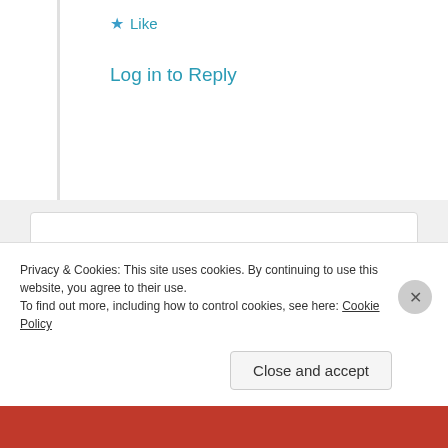★ Like
Log in to Reply
Dakshali Gupta
10th Jul 2021 at 7:45 am
[Figure (photo): Circular avatar photo of Dakshali Gupta, a woman in a pink top]
Hi ,
I am hosting a prompt for the first time. Please join in and spread the word.🙂🙏 would love to read
Privacy & Cookies: This site uses cookies. By continuing to use this website, you agree to their use.
To find out more, including how to control cookies, see here: Cookie Policy
Close and accept